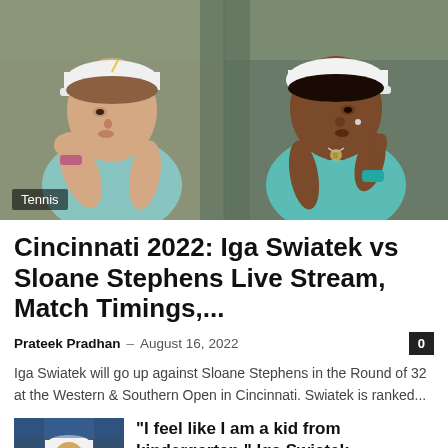[Figure (photo): Two female tennis players facing each other — one on the left in a light blue top with a white cap, one on the right in a teal top with a white cap. Photo taken at Roland Garros or similar clay court. A 'Tennis' badge overlays the bottom-left corner.]
Cincinnati 2022: Iga Swiatek vs Sloane Stephens Live Stream, Match Timings,...
Prateek Pradhan – August 16, 2022
Iga Swiatek will go up against Sloane Stephens in the Round of 32 at the Western & Southern Open in Cincinnati. Swiatek is ranked...
[Figure (photo): Thumbnail photo of a female tennis player celebrating, wearing a white cap, likely Iga Swiatek.]
"I feel like I am a kid from kindergarten," Iga Swiatek...